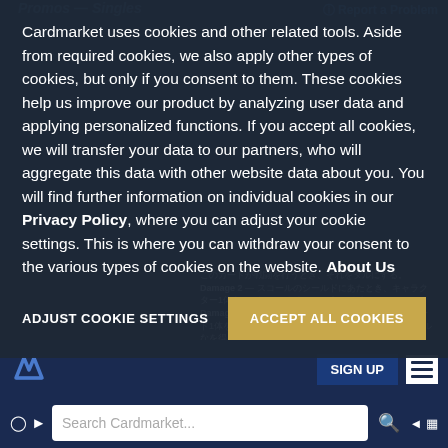Promos — Singles
Report a Problem
Info
Only Foils?  No
Cardmarket uses cookies and other related tools. Aside from required cookies, we also apply other types of cookies, but only if you consent to them. These cookies help us improve our product by analyzing user data and applying personalized functions. If you accept all cookies, we will transfer your data to our partners, who will aggregate this data with other website data about you. You will find further information on individual cookies in our Privacy Policy, where you can adjust your cookie settings. This is where you can withdraw your consent to the various types of cookies on the website. About Us
ADJUST COOKIE SETTINGS
ACCEPT ALL COOKIES
SIGN UP
Search Cardmarket...